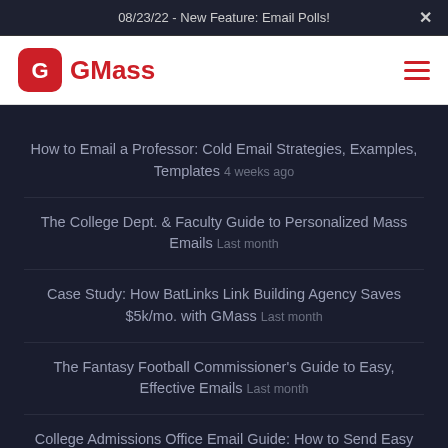08/23/22 - New Feature: Email Polls!
[Figure (logo): GMass logo with red rounded-square icon and GMass wordmark in red]
How to Email a Professor: Cold Email Strategies, Examples, Templates 4 weeks ago
The College Dept. & Faculty Guide to Personalized Mass Emails Last month
Case Study: How BatLinks Link Building Agency Saves $5k/mo. with GMass Last month
The Fantasy Football Commissioner's Guide to Easy, Effective Emails Last month
College Admissions Office Email Guide: How to Send Easy Personalized Messages Last month